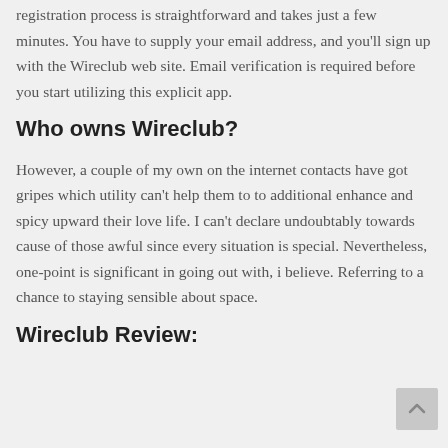registration process is straightforward and takes just a few minutes. You have to supply your email address, and you'll sign up with the Wireclub web site. Email verification is required before you start utilizing this explicit app.
Who owns Wireclub?
However, a couple of my own on the internet contacts have got gripes which utility can't help them to to additional enhance and spicy upward their love life. I can't declare undoubtably towards cause of those awful since every situation is special. Nevertheless, one-point is significant in going out with, i believe. Referring to a chance to staying sensible about space.
Wireclub Review: